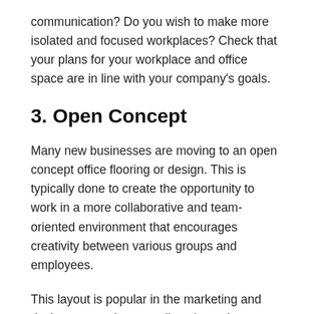communication? Do you wish to make more isolated and focused workplaces? Check that your plans for your workplace and office space are in line with your company's goals.
3. Open Concept
Many new businesses are moving to an open concept office flooring or design. This is typically done to create the opportunity to work in a more collaborative and team-oriented environment that encourages creativity between various groups and employees.
This layout is popular in the marketing and design companies as well as those that require an abundance of imagination and creativity from their employees.